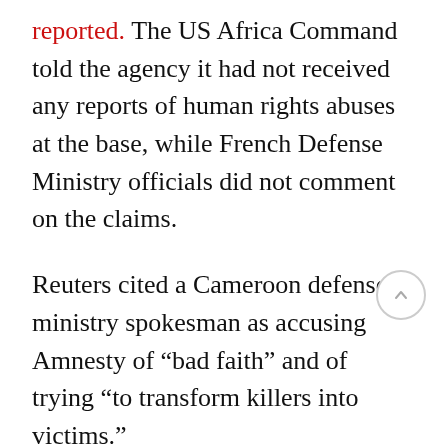reported. The US Africa Command told the agency it had not received any reports of human rights abuses at the base, while French Defense Ministry officials did not comment on the claims.
Reuters cited a Cameroon defense ministry spokesman as accusing Amnesty of “bad faith” and of trying “to transform killers into victims.”
The alleged torture techniques